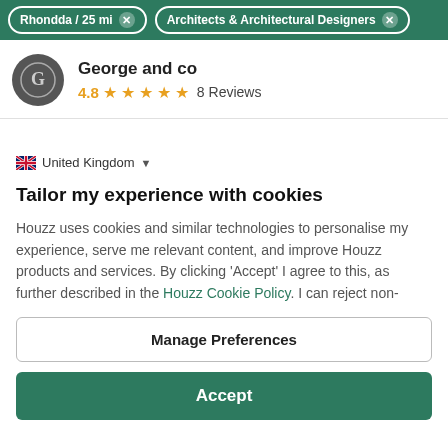Rhondda / 25 mi  ×   Architects & Architectural Designers  ×
George and co
4.8 ★★★★★ 8 Reviews
🇬🇧 United Kingdom ▼
Tailor my experience with cookies
Houzz uses cookies and similar technologies to personalise my experience, serve me relevant content, and improve Houzz products and services. By clicking 'Accept' I agree to this, as further described in the Houzz Cookie Policy. I can reject non-
Manage Preferences
Accept